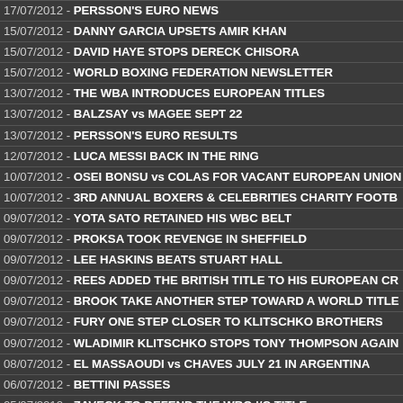17/07/2012 - PERSSON'S EURO NEWS
15/07/2012 - DANNY GARCIA UPSETS AMIR KHAN
15/07/2012 - DAVID HAYE STOPS DERECK CHISORA
15/07/2012 - WORLD BOXING FEDERATION NEWSLETTER
13/07/2012 - THE WBA INTRODUCES EUROPEAN TITLES
13/07/2012 - BALZSAY vs MAGEE SEPT 22
13/07/2012 - PERSSON'S EURO RESULTS
12/07/2012 - LUCA MESSI BACK IN THE RING
10/07/2012 - OSEI BONSU vs COLAS FOR VACANT EUROPEAN UNION
10/07/2012 - 3RD ANNUAL BOXERS & CELEBRITIES CHARITY FOOTB
09/07/2012 - YOTA SATO RETAINED HIS WBC BELT
09/07/2012 - PROKSA TOOK REVENGE IN SHEFFIELD
09/07/2012 - LEE HASKINS BEATS STUART HALL
09/07/2012 - REES ADDED THE BRITISH TITLE TO HIS EUROPEAN CR
09/07/2012 - BROOK TAKE ANOTHER STEP TOWARD A WORLD TITLE
09/07/2012 - FURY ONE STEP CLOSER TO KLITSCHKO BROTHERS
09/07/2012 - WLADIMIR KLITSCHKO STOPS TONY THOMPSON AGAIN
08/07/2012 - EL MASSAOUDI vs CHAVES JULY 21 IN ARGENTINA
06/07/2012 - BETTINI PASSES
05/07/2012 - ZAVECK TO DEFEND THE WBO I/C TITLE
05/07/2012 - PERSSON'S EURO RESULTS
04/07/2012 - EBU AND EU LIGHTWEIGHT TITLES
04/07/2012 - WORLD BOXING FEDERATION NEWSLETTER
04/07/2012 - LEON WILLIAMS vs TONY CONQUEST 7TH JULY
01/07/2012 - BUNDRAGE STOPS SPINKS AGAIN
30/06/2012 - KLITSCHKO, THOMPSON HEATS UP